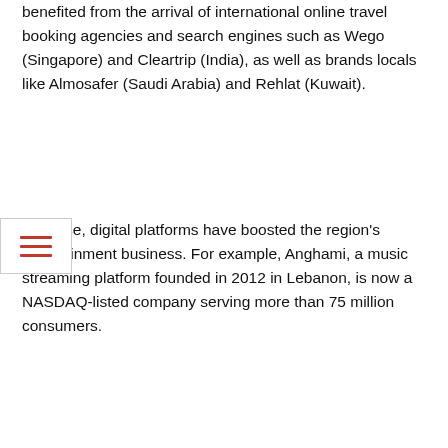benefited from the arrival of international online travel booking agencies and search engines such as Wego (Singapore) and Cleartrip (India), as well as brands locals like Almosafer (Saudi Arabia) and Rehlat (Kuwait).
Likewise, digital platforms have boosted the region's entertainment business. For example, Anghami, a music streaming platform founded in 2012 in Lebanon, is now a NASDAQ-listed company serving more than 75 million consumers.
And Netflix has both harnessed and promoted local content, including its first Arabic-language original series. This has greatly expanded the scope of the industry.
2017 film by Lebanese director Lucien Bourjeily, paradise without anyone was little known until it became available on Netflix and rose to fame.
However, it is the exceptions that prove the rule. While the Arab